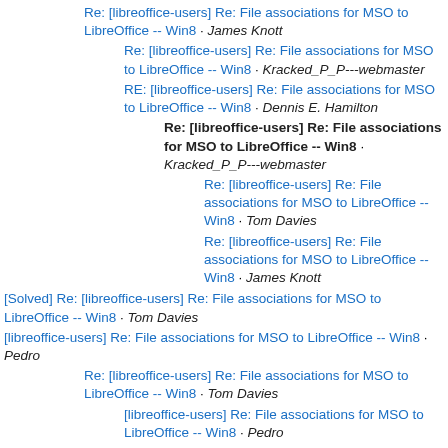Re: [libreoffice-users] Re: File associations for MSO to LibreOffice -- Win8 · James Knott
Re: [libreoffice-users] Re: File associations for MSO to LibreOffice -- Win8 · Kracked_P_P---webmaster
RE: [libreoffice-users] Re: File associations for MSO to LibreOffice -- Win8 · Dennis E. Hamilton
Re: [libreoffice-users] Re: File associations for MSO to LibreOffice -- Win8 · Kracked_P_P---webmaster
Re: [libreoffice-users] Re: File associations for MSO to LibreOffice -- Win8 · Tom Davies
Re: [libreoffice-users] Re: File associations for MSO to LibreOffice -- Win8 · James Knott
[Solved] Re: [libreoffice-users] Re: File associations for MSO to LibreOffice -- Win8 · Tom Davies
[libreoffice-users] Re: File associations for MSO to LibreOffice -- Win8 · Pedro
Re: [libreoffice-users] Re: File associations for MSO to LibreOffice -- Win8 · Tom Davies
[libreoffice-users] Re: File associations for MSO to LibreOffice -- Win8 · Pedro
Re: [libreoffice-users] Re: File associations for MSO to LibreOffice -- Win8